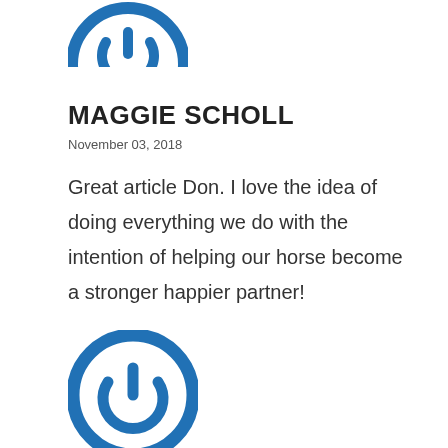[Figure (logo): Blue circular power button icon (top, partially cropped)]
MAGGIE SCHOLL
November 03, 2018
Great article Don. I love the idea of doing everything we do with the intention of helping our horse become a stronger happier partner!
[Figure (logo): Blue circular power button icon (bottom)]